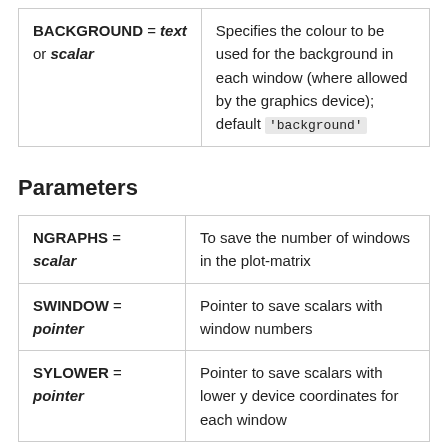| BACKGROUND = text or scalar | Specifies the colour to be used for the background in each window (where allowed by the graphics device); default 'background' |
Parameters
| NGRAPHS = scalar | To save the number of windows in the plot-matrix |
| SWINDOW = pointer | Pointer to save scalars with window numbers |
| SYLOWER = pointer | Pointer to save scalars with lower y device coordinates for each window |